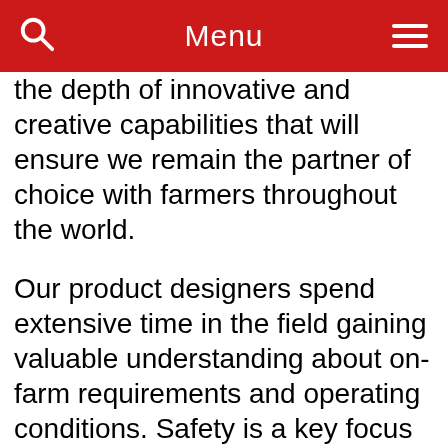Menu
the depth of innovative and creative capabilities that will ensure we remain the partner of choice with farmers throughout the world.
Our product designers spend extensive time in the field gaining valuable understanding about on-farm requirements and operating conditions. Safety is a key focus when we design and manufacture our products and C-Dax is a recognised industry leader in this field, so you can be assured that your purchase is the safest on the market.
Modern farming practices demand modern farming equipment and we have a special commitment to providing these solutions to…